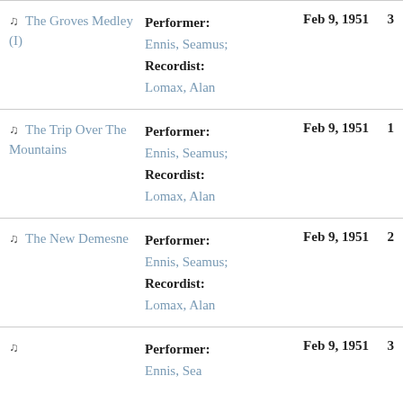| Title | Role/Person | Date | Track |
| --- | --- | --- | --- |
| ♫ The Groves Medley (I) | Performer: Ennis, Seamus; Recordist: Lomax, Alan | Feb 9, 1951 | 3 |
| ♫ The Trip Over The Mountains | Performer: Ennis, Seamus; Recordist: Lomax, Alan | Feb 9, 1951 | 1 |
| ♫ The New Demesne | Performer: Ennis, Seamus; Recordist: Lomax, Alan | Feb 9, 1951 | 2 |
| ♫ | Performer: Ennis, Seamus | Feb 9, 1951 | 3 |